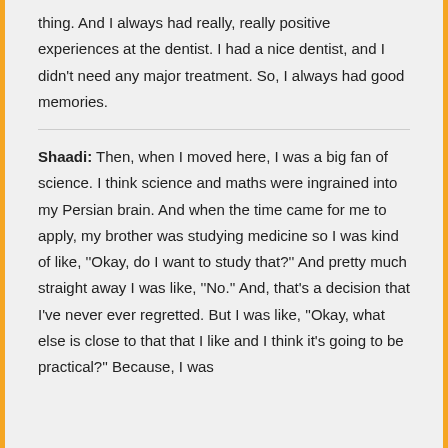thing. And I always had really, really positive experiences at the dentist. I had a nice dentist, and I didn't need any major treatment. So, I always had good memories.
Shaadi: Then, when I moved here, I was a big fan of science. I think science and maths were ingrained into my Persian brain. And when the time came for me to apply, my brother was studying medicine so I was kind of like, ''Okay, do I want to study that?'' And pretty much straight away I was like, ''No.'' And, that's a decision that I've never ever regretted. But I was like, ''Okay, what else is close to that that I like and I think it's going to be practical?'' Because, I was